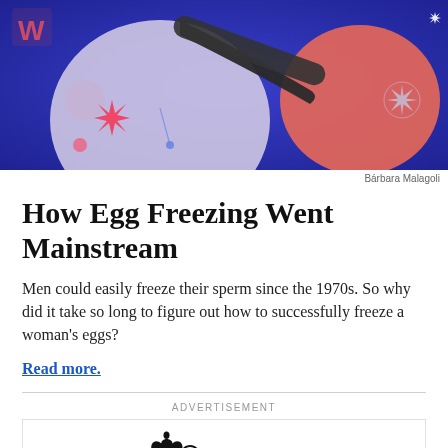[Figure (illustration): Abstract colorful illustration with blue/purple background featuring large curved 3D shapes in salmon/orange tones, a star burst shape, decorative elements, and a stylized 'W' letter mark in the upper left.]
Bárbara Malagoli
How Egg Freezing Went Mainstream
Men could easily freeze their sperm since the 1970s. So why did it take so long to figure out how to successfully freeze a woman's eggs?
Read more.
ADVERTISEMENT
[Figure (logo): Apple One logo — Apple logo symbol followed by the word 'One' in light weight sans-serif]